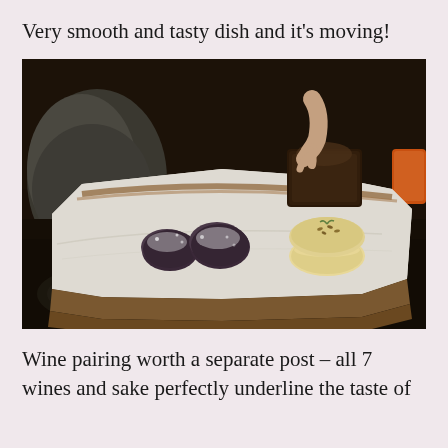Very smooth and tasty dish and it's moving!
[Figure (photo): A restaurant dessert plate - an irregular white stone slab serving board with two dark chocolate truffle-like items dusted with powdered sugar, and two round macarons with sesame seeds on top, placed on a dark restaurant counter. A person's hand is partially visible in the background near a chocolate dessert.]
Wine pairing worth a separate post – all 7 wines and sake perfectly underline the taste of